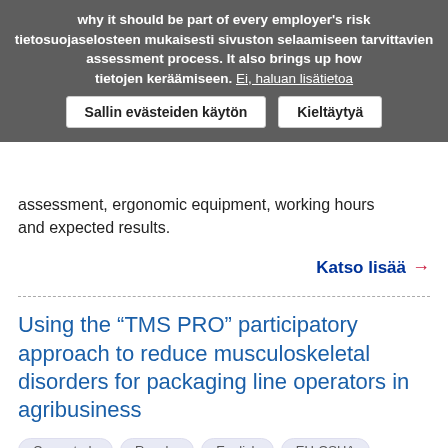assessment, ergonomic equipment, working hours and expected results.
Katso lisää →
Using the “TMS PRO” participatory approach to reduce musculoskeletal disorders for packaging line operators in agribusiness
Case study
Ranska
English
EU-OSHA
This case study looks at the collaboration of the Carsat occupational health and prevention